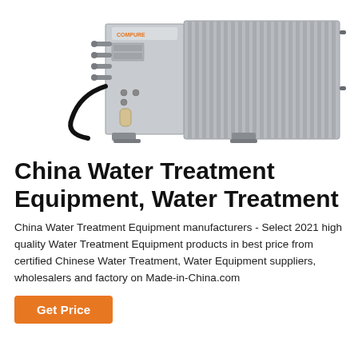[Figure (photo): Photo of a grey industrial water treatment equipment unit with ribbed side panels, multiple pipe fittings and connectors on the left face, and mounting feet at the bottom. A black cable is visible on the left side. The unit has a rectangular box form factor.]
China Water Treatment Equipment, Water Treatment
China Water Treatment Equipment manufacturers - Select 2021 high quality Water Treatment Equipment products in best price from certified Chinese Water Treatment, Water Equipment suppliers, wholesalers and factory on Made-in-China.com
Get Price